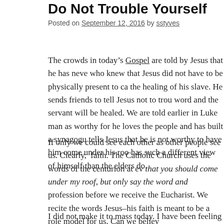Do Not Trouble Yourself
Posted on September 12, 2016 by sstyves
The crowds in today’s Gospel are told by Jesus that he has never who knew that Jesus did not have to be physically present to ca the healing of his slave. He sends friends to tell Jesus not to trou word and the servant will be healed. We are told earlier in Luke man as worthy for he loves the people and has built a synagogu tells Jesus that he is not worthy to have him come under his roo has such a different view of himself than the elders do.
If only we could see each other as other people see us. Clearly, faith. The Catholic Church uses the words of the centurion at ev that you should come under my roof, but only say the word and profession before we receive the Eucharist. We recite the words Jesus–his faith is meant to be a role model for us. Can we believ
I did not make it to mass today. I have been feeling somewhat b